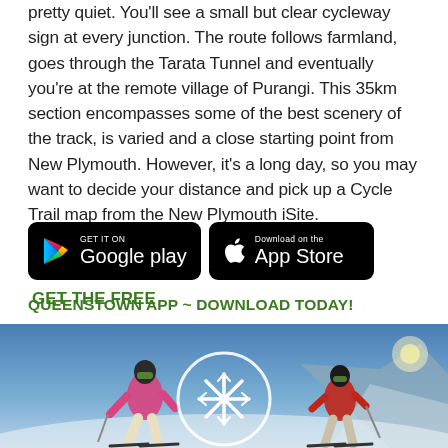pretty quiet. You'll see a small but clear cycleway sign at every junction. The route follows farmland, goes through the Tarata Tunnel and eventually you're at the remote village of Purangi. This 35km section encompasses some of the best scenery of the track, is varied and a close starting point from New Plymouth. However, it's a long day, so you may want to decide your distance and pick up a Cycle Trail map from the New Plymouth iSite.
[Figure (screenshot): Google Play and App Store download badges side by side, with green text 'GET THE FREE' to the right, and below 'QUEENSTOWN APP ~ DOWNLOAD TODAY!' in green bold]
[Figure (photo): Two skiers in colorful ski gear (pink and red jackets) on a snowy slope against a blue sky, with a white snowflake symbol inside a white circle overlaid in the center]